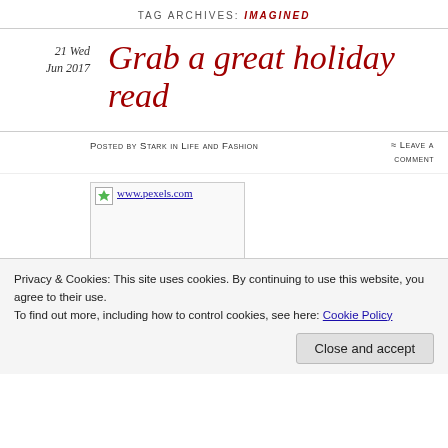TAG ARCHIVES: IMAGINED
21 Wed Jun 2017
Grab a great holiday read
Posted by Stark in Life and Fashion  ≈ Leave a comment
[Figure (photo): Image linked from www.pexels.com]
Tags
Privacy & Cookies: This site uses cookies. By continuing to use this website, you agree to their use.
To find out more, including how to control cookies, see here: Cookie Policy
Close and accept